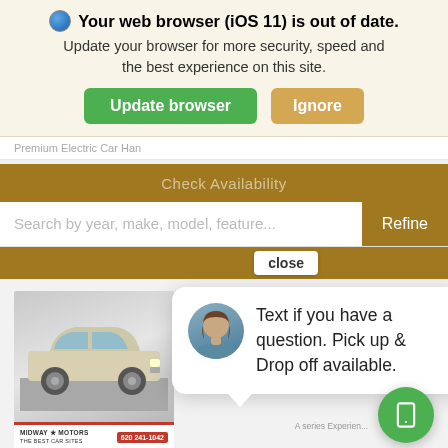[Figure (screenshot): Browser update banner with globe icon, bold warning text, and two buttons: green 'Update browser' and tan 'Ignore']
Your web browser (iOS 11) is out of date. Update your browser for more security, speed and the best experience on this site.
Update browser
Ignore
Premium Electric Car Han
Check Availability
Search by year, make, model, feature...
Refine
close
[Figure (photo): Partial car thumbnail showing an SUV (white/gold), with Midway Motors dealer strip at bottom showing phone number 620 241-1042]
Text if you have a question. Pick up & Drop off available.
Search
Contact
Garage